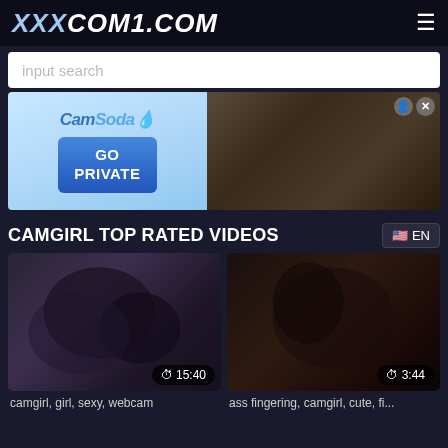XXXCOM1.COM
input search
[Figure (photo): CamSoda advertisement banner with GO PRIVATE button on the left and adult content image on right]
CAMGIRL TOP RATED VIDEOS
🇺🇸 EN
[Figure (photo): Video thumbnail - couple kissing, duration 15:40]
[Figure (photo): Video thumbnail - adult content, duration 3:44]
camgirl, girl, sexy, webcam
ass fingering, camgirl, cute, fi...